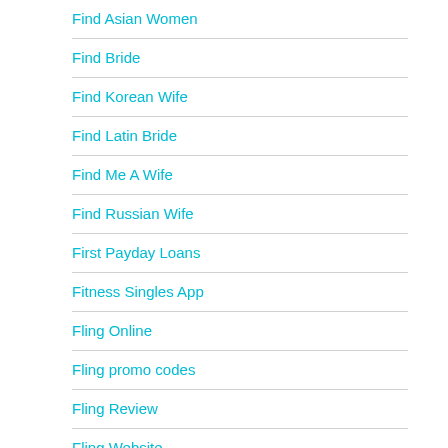Find Asian Women
Find Bride
Find Korean Wife
Find Latin Bride
Find Me A Wife
Find Russian Wife
First Payday Loans
Fitness Singles App
Fling Online
Fling promo codes
Fling Review
Fling Website
Flirt Indian Brides